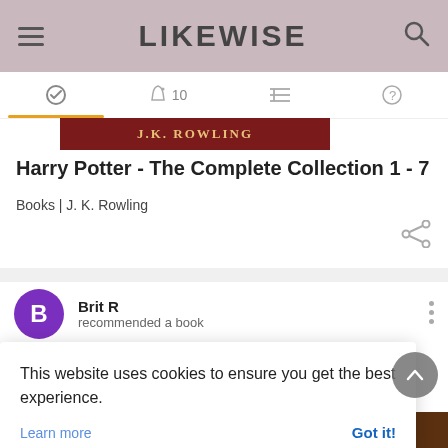LIKEWISE
[Figure (screenshot): Navigation bar with activity, notifications (10), list, and help icons; active tab underlined in orange]
[Figure (screenshot): Dark red banner showing 'J.K. ROWLING' author name]
Harry Potter - The Complete Collection 1 - 7
Books | J. K. Rowling
[Figure (screenshot): Share icon (three dots connected)]
Brit R
recommended a book
This website uses cookies to ensure you get the best experience.
Learn more   Got it!